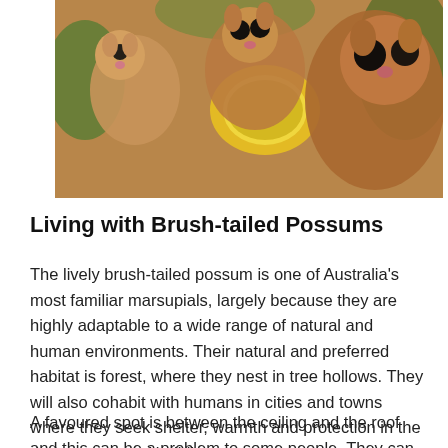[Figure (photo): A group of brush-tailed possums clustered together around a yellow flower, showing their large dark eyes and furry faces]
Living with Brush-tailed Possums
The lively brush-tailed possum is one of Australia's most familiar marsupials, largely because they are highly adaptable to a wide range of natural and human environments. Their natural and preferred habitat is forest, where they nest in tree hollows. They will also cohabit with humans in cities and towns where they seek shelter, warmth and protection in the dark recesses of buildings
A favoured spot is between the ceiling and the roof and this can be a problem to some people. They can